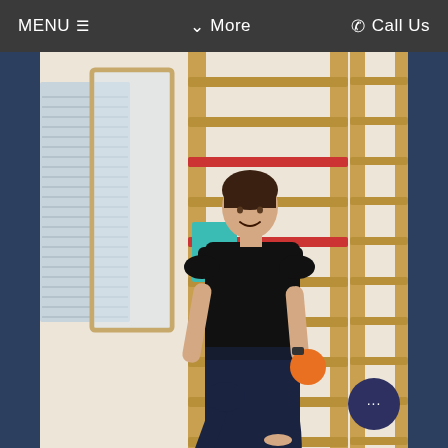MENU  ≡       ∨ More       ✆ Call Us
[Figure (photo): A woman in a black top and dark navy pants performing a fitness/exercise pose (lunge with one knee raised) in front of a wooden wall ladder/gymnastics bar. She is holding an orange ball in one hand. The background shows a gym or physical therapy studio with a mirror, horizontal blinds on a window, and colored bars on the ladder structure.]
[Figure (other): Dark navy circular chat/messenger button with three white dots in the bottom right corner of the page.]